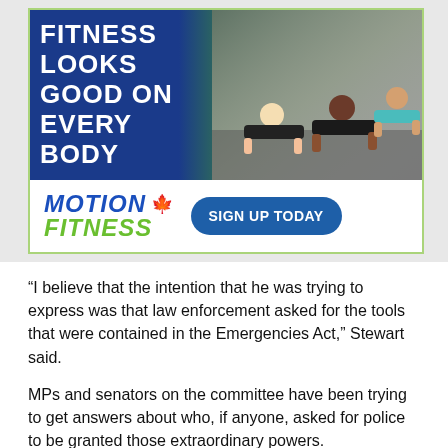[Figure (illustration): Motion Fitness advertisement. Top section shows dark blue gradient background with white bold text 'FITNESS LOOKS GOOD ON EVERY BODY' and a photo of people doing push-ups on the right. Bottom white section shows the Motion Fitness logo (blue italic MOTION with red maple leaf, green italic FITNESS) and a dark blue pill-shaped button reading 'SIGN UP TODAY'.]
“I believe that the intention that he was trying to express was that law enforcement asked for the tools that were contained in the Emergencies Act,” Stewart said.
MPs and senators on the committee have been trying to get answers about who, if anyone, asked for police to be granted those extraordinary powers.
RCMP Commissioner Brenda Lucki and Ottawa interim